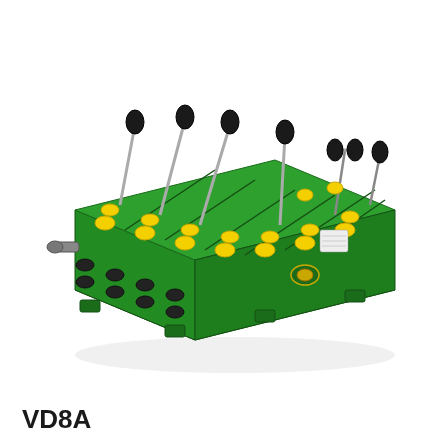[Figure (photo): Photo of a VD8A multi-section hydraulic directional control valve block. The valve is green with yellow port caps/plugs and black control levers/handles attached to the top. It is oriented at an angle showing the front face with multiple spool sections, hydraulic ports, and manual joystick-style actuators.]
VD8A